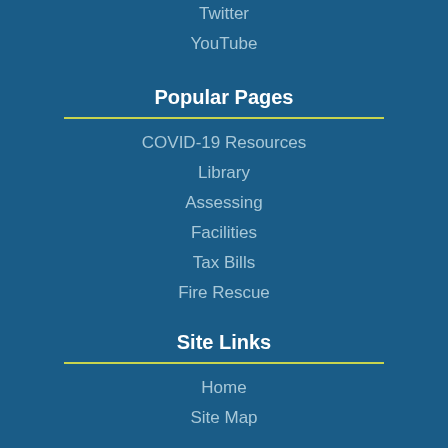Twitter
YouTube
Popular Pages
COVID-19 Resources
Library
Assessing
Facilities
Tax Bills
Fire Rescue
Site Links
Home
Site Map